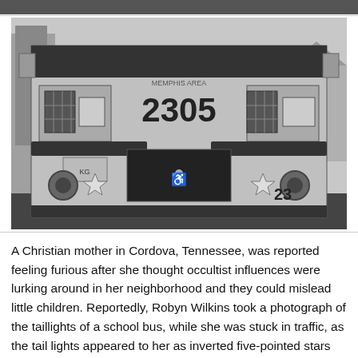[Figure (photo): Black and white photograph of the rear of a school bus numbered 2305, taken from behind in traffic. The bus shows large rectangular taillights with star-shaped elements, a handicap symbol on the rear door, and the number 23 visible on the lower right. Trees and a house are visible in the background.]
A Christian mother in Cordova, Tennessee, was reported feeling furious after she thought occultist influences were lurking around in her neighborhood and they could mislead little children. Reportedly, Robyn Wilkins took a photograph of the taillights of a school bus, while she was stuck in traffic, as the tail lights appeared to her as inverted five-pointed stars that